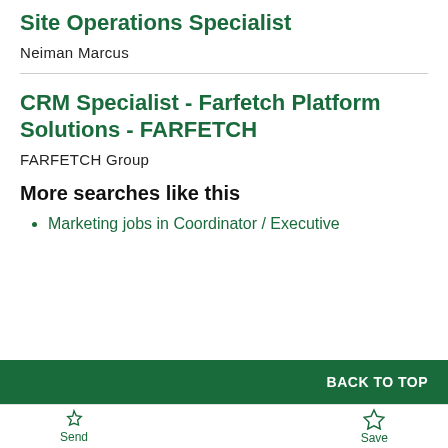Site Operations Specialist
Neiman Marcus
CRM Specialist - Farfetch Platform Solutions - FARFETCH
FARFETCH Group
More searches like this
Marketing jobs in Coordinator / Executive
BACK TO TOP  Send  Save